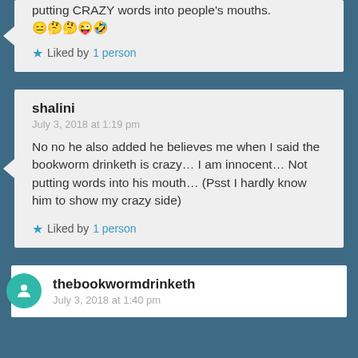putting CRAZY words into people's mouths. 😑🤔🤔😜🤣
★ Liked by 1 person
shalini
July 3, 2018 at 1:19 pm
No no he also added he believes me when I said the bookworm drinketh is crazy… I am innocent… Not putting words into his mouth… (Psst I hardly know him to show my crazy side)
★ Liked by 1 person
thebookwormdrinketh
July 3, 2018 at 1:40 pm